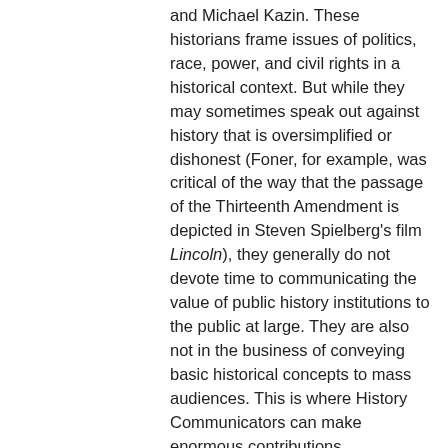and Michael Kazin. These historians frame issues of politics, race, power, and civil rights in a historical context. But while they may sometimes speak out against history that is oversimplified or dishonest (Foner, for example, was critical of the way that the passage of the Thirteenth Amendment is depicted in Steven Spielberg's film Lincoln), they generally do not devote time to communicating the value of public history institutions to the public at large. They are also not in the business of conveying basic historical concepts to mass audiences. This is where History Communicators can make enormous contributions.
Many public historians do currently